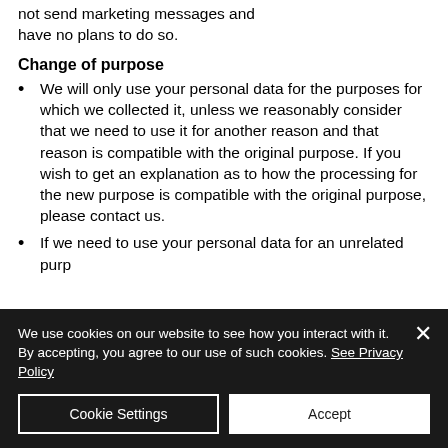not send marketing messages and have no plans to do so.
Change of purpose
We will only use your personal data for the purposes for which we collected it, unless we reasonably consider that we need to use it for another reason and that reason is compatible with the original purpose. If you wish to get an explanation as to how the processing for the new purpose is compatible with the original purpose, please contact us.
If we need to use your personal data for an unrelated purpose,
We use cookies on our website to see how you interact with it. By accepting, you agree to our use of such cookies. See Privacy Policy
Cookie Settings
Accept